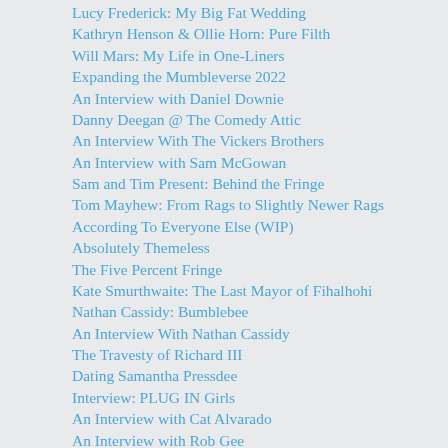Lucy Frederick: My Big Fat Wedding
Kathryn Henson & Ollie Horn: Pure Filth
Will Mars: My Life in One-Liners
Expanding the Mumbleverse 2022
An Interview with Daniel Downie
Danny Deegan @ The Comedy Attic
An Interview With The Vickers Brothers
An Interview with Sam McGowan
Sam and Tim Present: Behind the Fringe
Tom Mayhew: From Rags to Slightly Newer Rags
According To Everyone Else (WIP)
Absolutely Themeless
The Five Percent Fringe
Kate Smurthwaite: The Last Mayor of Fihalhohi
Nathan Cassidy: Bumblebee
An Interview With Nathan Cassidy
The Travesty of Richard III
Dating Samantha Pressdee
Interview: PLUG IN Girls
An Interview with Cat Alvarado
An Interview with Rob Gee